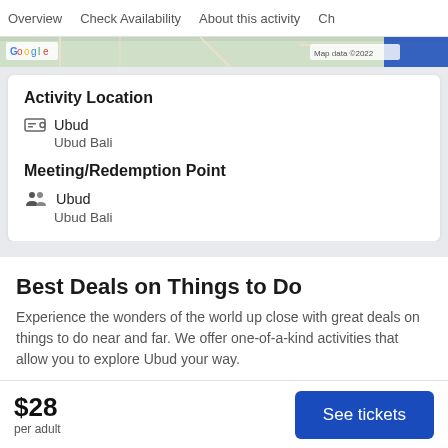Overview | Check Availability | About this activity | Ch
[Figure (map): Google Maps strip showing a partial map view with 'Map data ©2022' attribution]
Activity Location
Ubud
Ubud Bali
Meeting/Redemption Point
Ubud
Ubud Bali
Best Deals on Things to Do
Experience the wonders of the world up close with great deals on things to do near and far. We offer one-of-a-kind activities that allow you to explore Ubud your way.
$28
per adult
See tickets